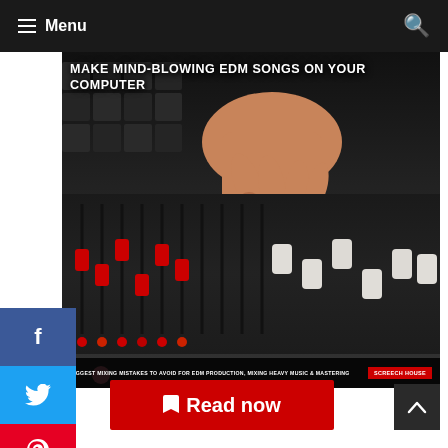≡ Menu
[Figure (photo): A hand adjusting faders on a mixing board/audio console with red and white sliders. Text overlay reads: MAKE MIND-BLOWING EDM SONGS ON YOUR COMPUTER. Bottom bar reads: BIGGEST MIXING MISTAKES TO AVOID FOR EDM PRODUCTION, MIXING HEAVY MUSIC & MASTERING | SCREECH HOUSE]
Read now